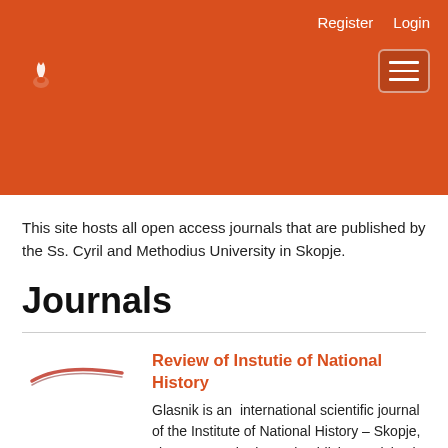Register  Login
This site hosts all open access journals that are published by the Ss. Cyril and Methodius University in Skopje.
Journals
Review of Instutie of National History
Glasnik is an  international scientific journal of the Institute of National History – Skopje, since 1957. The journal publishes articles in the fields of humanities and social sciences, through the following rubrics: